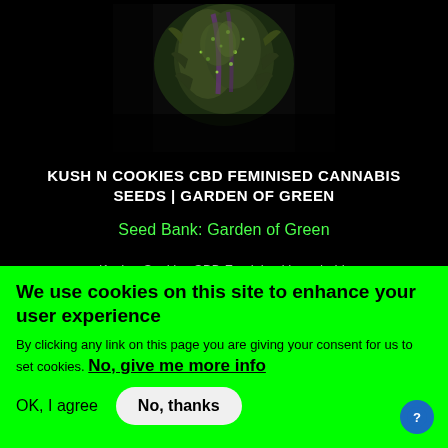[Figure (photo): Close-up macro photograph of a cannabis plant bud with trichomes on a dark/black background]
KUSH N COOKIES CBD FEMINISED CANNABIS SEEDS | GARDEN OF GREEN
Seed Bank: Garden of Green
Kush n Cookies CBD Feminised is probably
We use cookies on this site to enhance your user experience
By clicking any link on this page you are giving your consent for us to set cookies. No, give me more info
OK, I agree
No, thanks